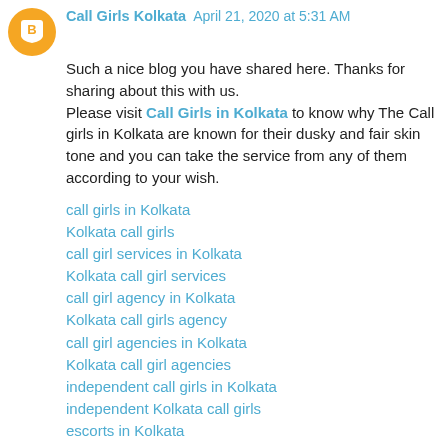Call Girls Kolkata April 21, 2020 at 5:31 AM
Such a nice blog you have shared here. Thanks for sharing about this with us.
Please visit Call Girls in Kolkata to know why The Call girls in Kolkata are known for their dusky and fair skin tone and you can take the service from any of them according to your wish.
call girls in Kolkata
Kolkata call girls
call girl services in Kolkata
Kolkata call girl services
call girl agency in Kolkata
Kolkata call girls agency
call girl agencies in Kolkata
Kolkata call girl agencies
independent call girls in Kolkata
independent Kolkata call girls
escorts in Kolkata
Kolkata escorts
independent escorts in Kolkata
independent Kolkata escorts